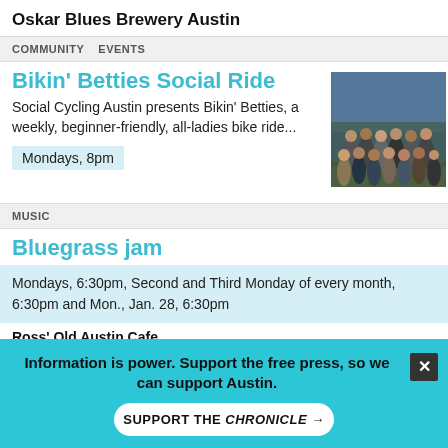Oskar Blues Brewery Austin
COMMUNITY   EVENTS
Bikin' Betties Social Ride
Social Cycling Austin presents Bikin' Betties, a weekly, beginner-friendly, all-ladies bike ride...
Mondays, 8pm
[Figure (photo): Group photo of women cyclists outdoors at dusk]
MUSIC
Bluegrass jam
Mondays, 6:30pm, Second and Third Monday of every month, 6:30pm and Mon., Jan. 28, 6:30pm
Ross' Old Austin Cafe
MUSIC
Information is power. Support the free press, so we can support Austin.
SUPPORT THE CHRONICLE →